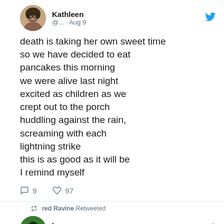[Figure (screenshot): Twitter/social media screenshot showing two tweets. First tweet by Kathleen (@...) dated Aug 9 with a poem about death, pancakes, and lightning. Second tweet retweeted by red Ravine from Luna (@...) dated Aug 11 starting with 'evening tea'.]
Kathleen @... · Aug 9
death is taking her own sweet time
so we have decided to eat pancakes this morning
we were alive last night
excited as children as we crept out to the porch
huddling against the rain, screaming with each lightning strike
this is as good as it will be
I remind myself
9  97
red Ravine Retweeted
Luna @... · Aug 11
evening tea